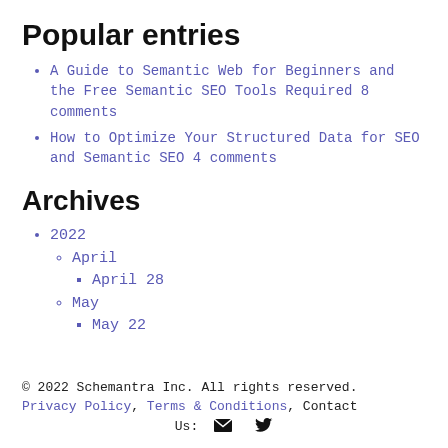Popular entries
A Guide to Semantic Web for Beginners and the Free Semantic SEO Tools Required 8 comments
How to Optimize Your Structured Data for SEO and Semantic SEO 4 comments
Archives
2022
April
April 28
May
May 22
© 2022 Schemantra Inc. All rights reserved. Privacy Policy, Terms & Conditions, Contact Us: [email icon] [twitter icon]